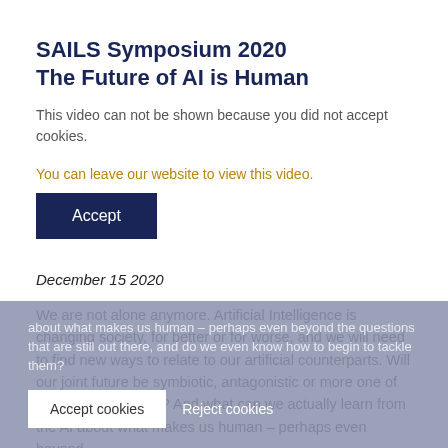SAILS Symposium 2020
The Future of AI is Human
This video can not be shown because you did not accept cookies.
You can leave our website to view this video.
Accept
December 15 2020
We are not alone anymore. Artificial Intelligence is changing society, for better or for worse, and we will need to find new ways to relate to our artificial counterparts. Will our joint future be symbiotic, antagonistic or more one of fruitful collaboration? And what can we actually learn from the AI about what makes us human – perhaps even beyond the questions that are still out there, and do we even know how to begin to tackle them?
Accept cookies   Reject cookies